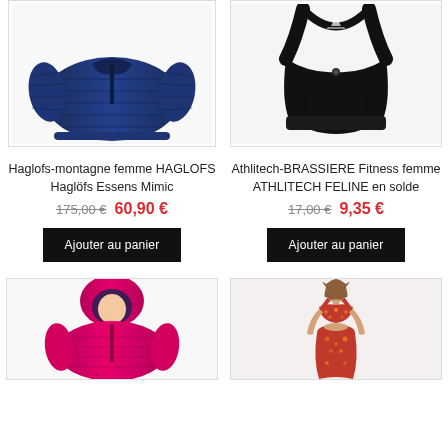[Figure (photo): Navy blue quilted down jacket for women (Haglofs)]
[Figure (photo): Black sports bra / fitness brassiere (Athlitech Feline)]
Haglofs-montagne femme HAGLOFS Haglöfs Essens Mimic
Athlitech-BRASSIERE Fitness femme ATHLITECH FELINE en solde
175,00 €  60,90 €
17,00 €  9,35 €
Ajouter au panier
Ajouter au panier
[Figure (photo): Pink/fuchsia quilted children's or women's jacket with hood]
[Figure (photo): Woman wearing a floral/patterned sports top and shorts set]